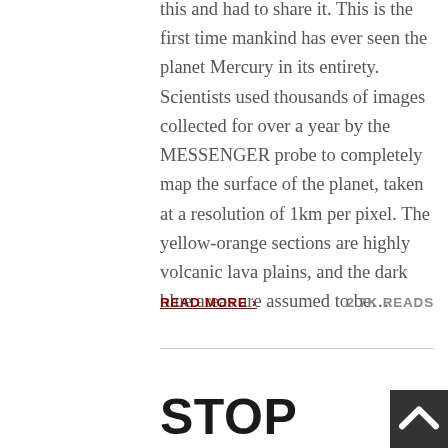this and had to share it. This is the first time mankind has ever seen the planet Mercury in its entirety. Scientists used thousands of images collected for over a year by the MESSENGER probe to completely map the surface of the planet, taken at a resolution of 1km per pixel. The yellow-orange sections are highly volcanic lava plains, and the dark blue areas are assumed to be...
READ MORE ›
2.7K READS
STOP